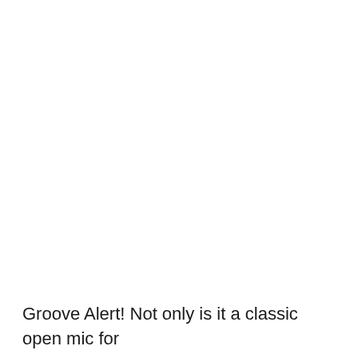Groove Alert! Not only is it a classic open mic for